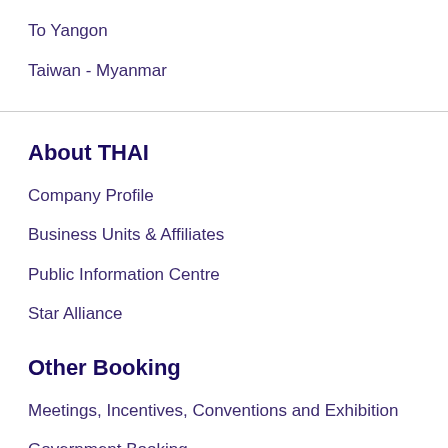To Yangon
Taiwan - Myanmar
About THAI
Company Profile
Business Units & Affiliates
Public Information Centre
Star Alliance
Other Booking
Meetings, Incentives, Conventions and Exhibition
Government Booking